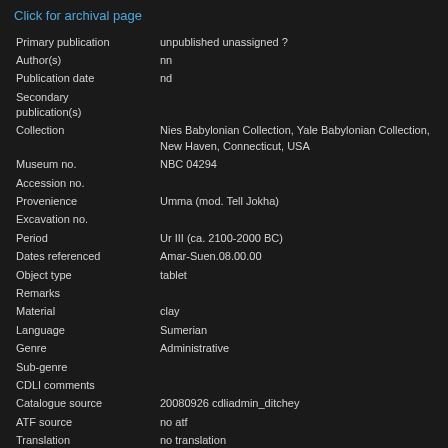Click for archival page
| Field | Value |
| --- | --- |
| Primary publication | unpublished unassigned ? |
| Author(s) | nn |
| Publication date | nd |
| Secondary publication(s) |  |
| Collection | Nies Babylonian Collection, Yale Babylonian Collection, New Haven, Connecticut, USA |
| Museum no. | NBC 04294 |
| Accession no. |  |
| Provenience | Umma (mod. Tell Jokha) |
| Excavation no. |  |
| Period | Ur III (ca. 2100-2000 BC) |
| Dates referenced | Amar-Suen.08.00.00 |
| Object type | tablet |
| Remarks |  |
| Material | clay |
| Language | Sumerian |
| Genre | Administrative |
| Sub-genre |  |
| CDLI comments |  |
| Catalogue source | 20080926 cdliadmin_ditchey |
| ATF source | no atf |
| Translation | no translation |
| UCLA Library ARK | 21198/zz001wmq0p |
| Composite no. |  |
| Seal no. | S003415.1 |
| CDLI no. | P293587 |